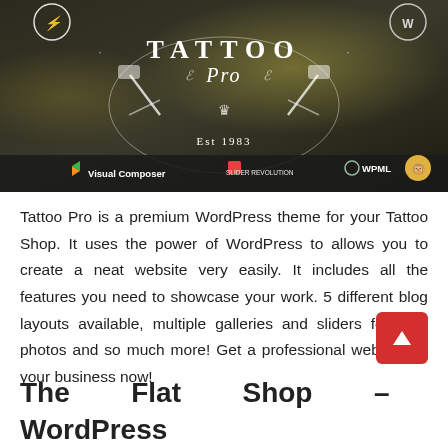[Figure (screenshot): Screenshot of the Tattoo Pro WordPress theme, showing a dark blurred background with a decorative white tattoo gun logo reading 'TATTOO Pro Est 1983', and a toolbar at the bottom showing logos for Visual Composer, Slider Revolution, WPML, and MailChimp.]
Tattoo Pro is a premium WordPress theme for your Tattoo Shop. It uses the power of WordPress to allows you to create a neat website very easily. It includes all the features you need to showcase your work. 5 different blog layouts available, multiple galleries and sliders for your photos and so much more! Get a professional website for your business now!
The Flat Shop – WordPress